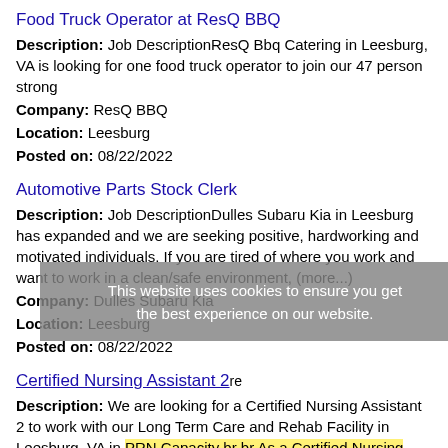Food Truck Operator at ResQ BBQ
Description: Job DescriptionResQ Bbq Catering in Leesburg, VA is looking for one food truck operator to join our 47 person strong
Company: ResQ BBQ
Location: Leesburg
Posted on: 08/22/2022
Automotive Parts Stock Clerk
Description: Job DescriptionDulles Subaru Kia in Leesburg has expanded and we are seeking positive, hardworking and motivated individuals. If you are tired of where you work and want to work in a clean/safe environment, (more...)
Company: Dulles Subaru Kia
Location: Leesburg
Posted on: 08/22/2022
This website uses cookies to ensure you get the best experience on our website.
Certified Nursing Assistant 2
Description: We are looking for a Certified Nursing Assistant 2 to work with our Long Term Care and Rehab Facility in Leesburg, VA in PRN Capacity br br As a Certified Nursing Assistant CNA 2, you will assist (more...)
Company: Inova Health System
Location: Leesburg